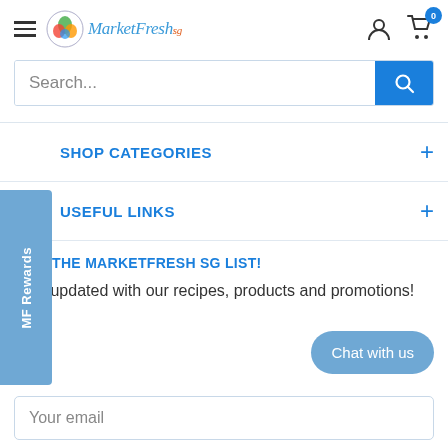MarketFresh.sg
Search...
SHOP CATEGORIES
USEFUL LINKS
JOIN THE MARKETFRESH SG LIST!
Stay updated with our recipes, products and promotions!
Your email